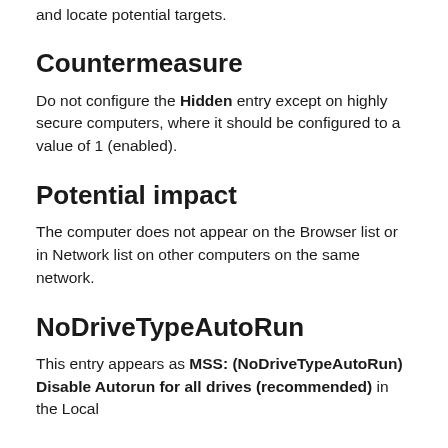and locate potential targets.
Countermeasure
Do not configure the Hidden entry except on highly secure computers, where it should be configured to a value of 1 (enabled).
Potential impact
The computer does not appear on the Browser list or in Network list on other computers on the same network.
NoDriveTypeAutoRun
This entry appears as MSS: (NoDriveTypeAutoRun) Disable Autorun for all drives (recommended) in the Local